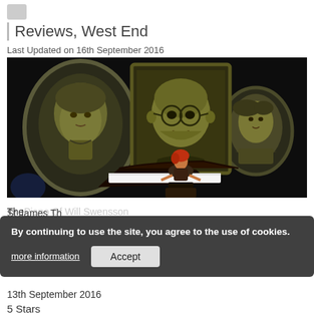Reviews, West End
Last Updated on 16th September 2016
[Figure (photo): A performer sitting at a grand piano on a dark stage, with three large oval/rectangular portrait images projected or displayed behind her — one on the left showing an older woman, one in the center showing a bald man with round glasses, and one on the right showing a woman. The scene is dramatically lit with dark background.]
The Piano Of Will Swensson
St James Th...
13th September 2016
5 Stars
By continuing to use the site, you agree to the use of cookies.
more information
Accept